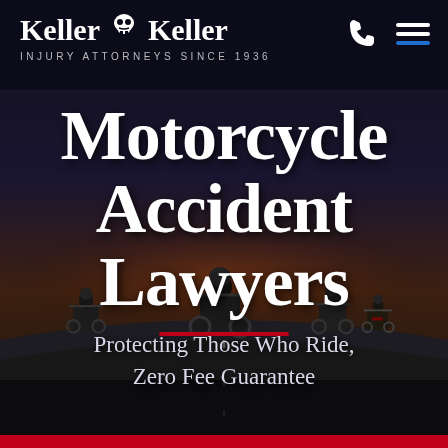[Figure (photo): Dark background showing motorcyclists riding on a road at dusk/sunset, with dramatic orange-purple sky. Multiple motorcycles visible from behind riding in formation on a highway.]
Keller & Keller
INJURY ATTORNEYS SINCE 1936
Motorcycle Accident Lawyers
Protecting Those Who Ride, Zero Fee Guarantee